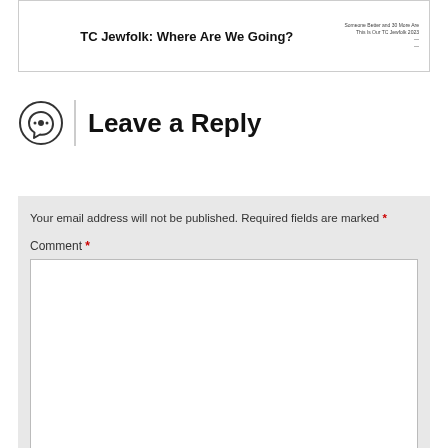[Figure (screenshot): A content box with the title 'TC Jewfolk: Where Are We Going?' and small metadata text on the right]
Leave a Reply
Your email address will not be published. Required fields are marked *
Comment *